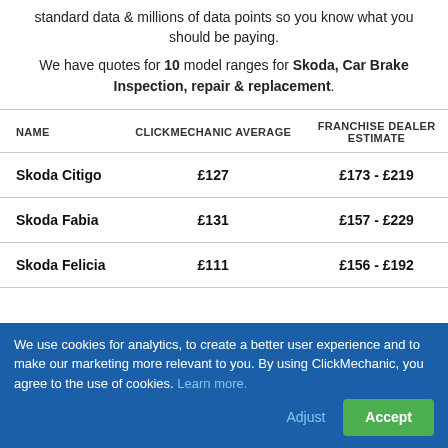standard data & millions of data points so you know what you should be paying.
We have quotes for 10 model ranges for Skoda, Car Brake Inspection, repair & replacement.
| NAME | CLICKMECHANIC AVERAGE | FRANCHISE DEALER ESTIMATE |
| --- | --- | --- |
| Skoda Citigo | £127 | £173 - £219 |
| Skoda Fabia | £131 | £157 - £229 |
| Skoda Felicia | £111 | £156 - £192 |
We use cookies for analytics, to create a better user experience and to make our marketing more relevant to you. By using ClickMechanic, you agree to the use of cookies. Learn more.